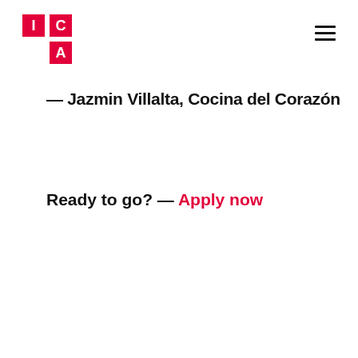[Figure (logo): ICA logo: red squares grid with white letters I, C, A]
— Jazmin Villalta, Cocina del Corazón
Ready to go? — Apply now